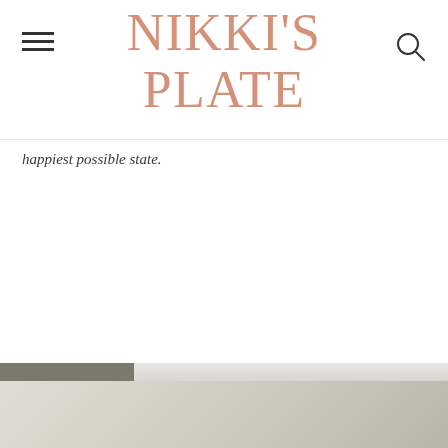NIKKI'S PLATE
happiest possible state.
[Figure (photo): Outdoor photo with trees and bright light, partially visible at bottom of page]